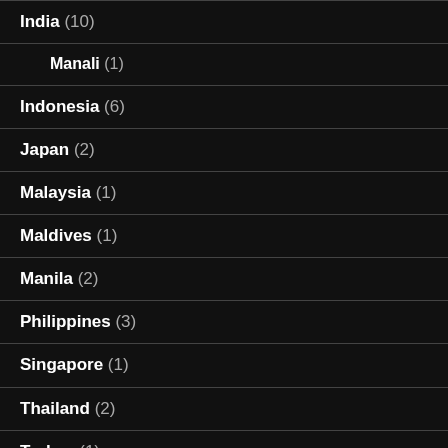India (10)
Manali (1)
Indonesia (6)
Japan (2)
Malaysia (1)
Maldives (1)
Manila (2)
Philippines (3)
Singapore (1)
Thailand (2)
Turkey (1)
United Arab Emirates (1)